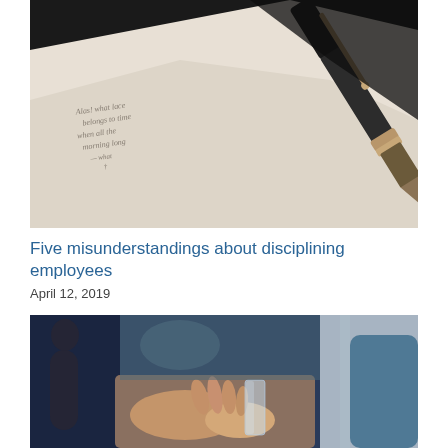[Figure (photo): Close-up photo of a fountain pen resting on a handwritten note on cream/beige paper against a dark background]
Five misunderstandings about disciplining employees
April 12, 2019
[Figure (photo): Photo of a person's hand near a glass, with blurred indoor background featuring blue tones and another figure in the background]